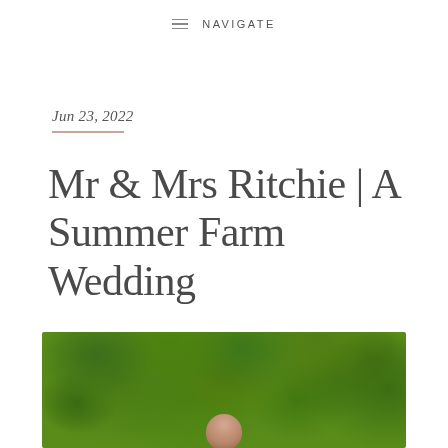NAVIGATE
Jun 23, 2022
Mr & Mrs Ritchie | A Summer Farm Wedding
[Figure (photo): Wedding photo showing a couple beneath lush green summer tree canopy, photographed from below looking up through the branches]